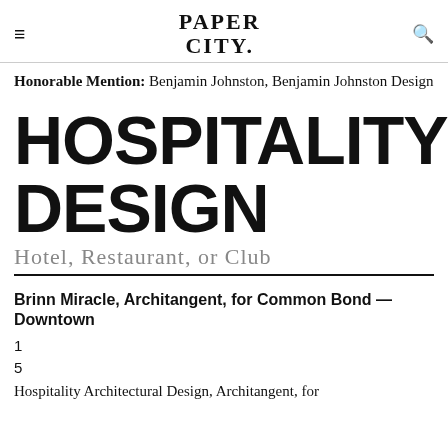≡   PAPER CITY.   🔍
Honorable Mention: Benjamin Johnston, Benjamin Johnston Design
HOSPITALITY DESIGN
Hotel, Restaurant, or Club
Brinn Miracle, Architangent, for Common Bond — Downtown
1
5
Hospitality Architectural Design, Architangent, for